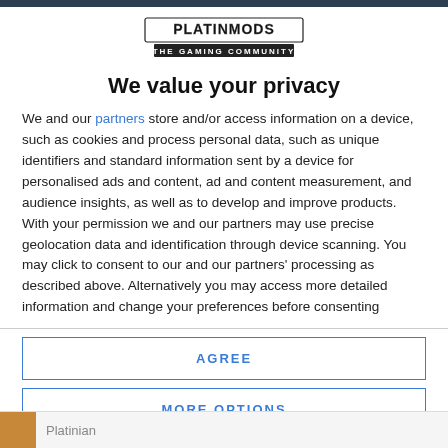[Figure (logo): PLATINMODS THE GAMING COMMUNITY logo with stylized bold text]
We value your privacy
We and our partners store and/or access information on a device, such as cookies and process personal data, such as unique identifiers and standard information sent by a device for personalised ads and content, ad and content measurement, and audience insights, as well as to develop and improve products. With your permission we and our partners may use precise geolocation data and identification through device scanning. You may click to consent to our and our partners' processing as described above. Alternatively you may access more detailed information and change your preferences before consenting
AGREE
MORE OPTIONS
Platinian